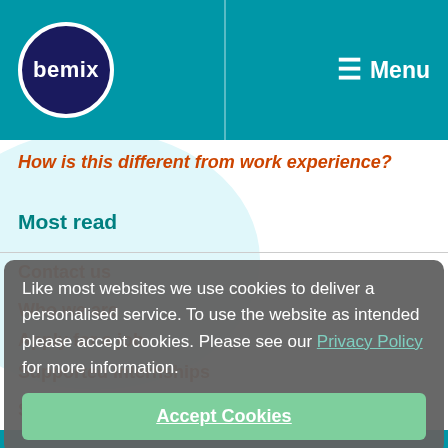[Figure (logo): Bemix logo - dark navy circle with white 'bemix' text]
≡ Menu
How is this different from work experience?
Most read
Contact us
Who we are
Apply for a job
Supported Internships
Supported internships for Employers
Like most websites we use cookies to deliver a personalised service. To use the website as intended please accept cookies. Please see our Privacy Policy for more information.
Accept Cookies